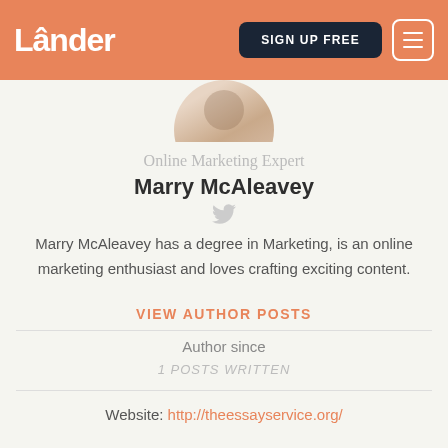Lander — SIGN UP FREE
[Figure (photo): Partial photo of a person (head/shoulders) visible at top center]
Online Marketing Expert
Marry McAleavey
[Figure (illustration): Twitter bird icon in light grey]
Marry McAleavey has a degree in Marketing, is an online marketing enthusiast and loves crafting exciting content.
VIEW AUTHOR POSTS
Author since
1 POSTS WRITTEN
Website: http://theessayservice.org/